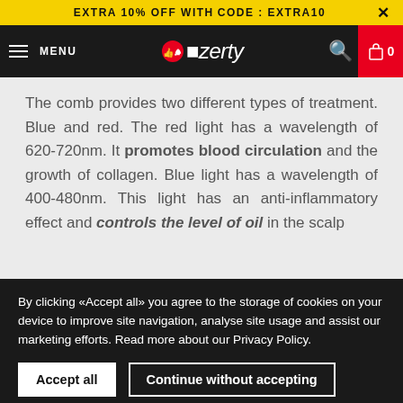EXTRA 10% OFF WITH CODE : EXTRA10
[Figure (logo): Ozerty logo with red circle and thumbs-up icon, white text on black nav bar with MENU, search icon, and cart (0)]
The comb provides two different types of treatment. Blue and red. The red light has a wavelength of 620-720nm. It promotes blood circulation and the growth of collagen. Blue light has a wavelength of 400-480nm. This light has an anti-inflammatory effect and controls the level of oil in the scalp.
By clicking «Accept all» you agree to the storage of cookies on your device to improve site navigation, analyse site usage and assist our marketing efforts. Read more about our Privacy Policy.
Accept all  Continue without accepting